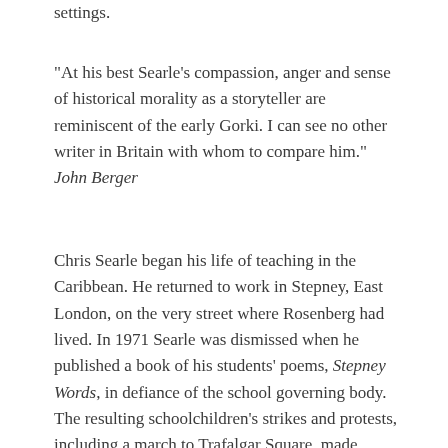settings.
"At his best Searle's compassion, anger and sense of historical morality as a storyteller are reminiscent of the early Gorki. I can see no other writer in Britain with whom to compare him." John Berger
Chris Searle began his life of teaching in the Caribbean. He returned to work in Stepney, East London, on the very street where Rosenberg had lived. In 1971 Searle was dismissed when he published a book of his students' poems, Stepney Words, in defiance of the school governing body. The resulting schoolchildren's strikes and protests, including a march to Trafalgar Square, made national headlines and propelled children's poetry into the curriculum of many schools in London and beyond. After a two-year battle the dismissal was overturned. During that time he set up a community publishing